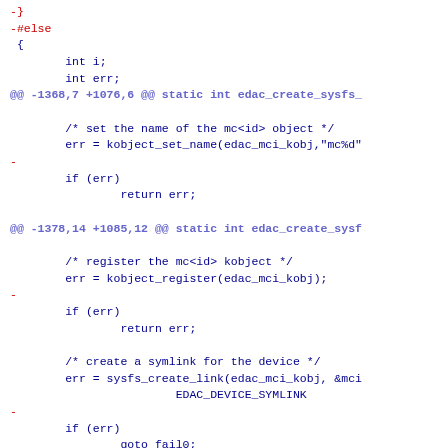diff --git code snippet showing edac_create_sysfs function modifications with removed lines and hunk headers
[Figure (screenshot): Source code diff view showing C code with red removed lines, blue context lines, and purple diff hunk headers for edac_create_sysfs function]